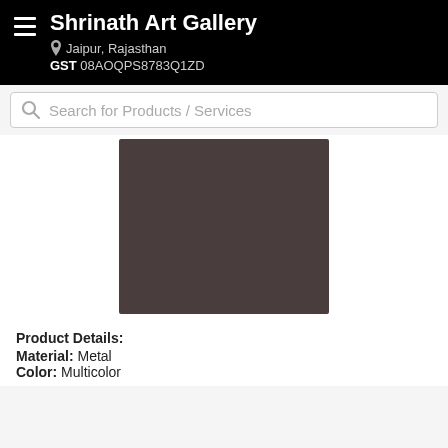Shrinath Art Gallery
Jaipur, Rajasthan
GST 08AOQPS8783Q1ZD
Search for Products / Services
[Figure (photo): Product image placeholder showing a dark brownish-grey rectangle representing an art product from Shrinath Art Gallery]
Product Details:
Material: Metal
Color: Multicolor